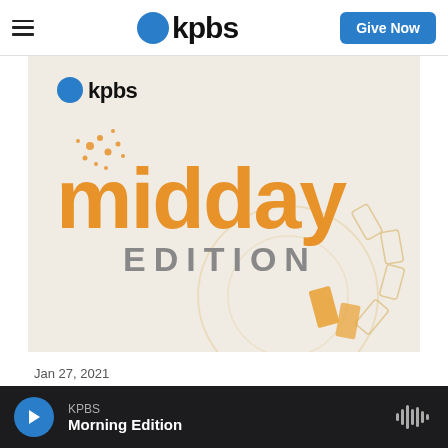KPBS — Give Now
[Figure (logo): KPBS Midday Edition logo with orange 'midday' text, gray 'EDITION' text, and decorative orange/white sun ray graphics on light background]
Jan 27, 2021
First Women Marine Recruits Arrive In San Diego For Basic Training
KPBS Morning Edition — audio player bar